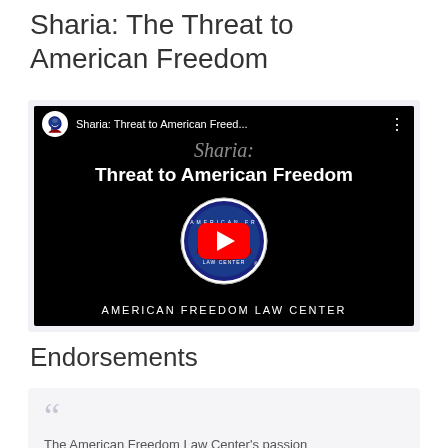Sharia: The Threat to American Freedom
[Figure (screenshot): YouTube video thumbnail showing 'Sharia: Threat to American Freedom' by American Freedom Law Center, with a play button overlay and the AFLC logo]
Endorsements
The American Freedom Law Center's passion